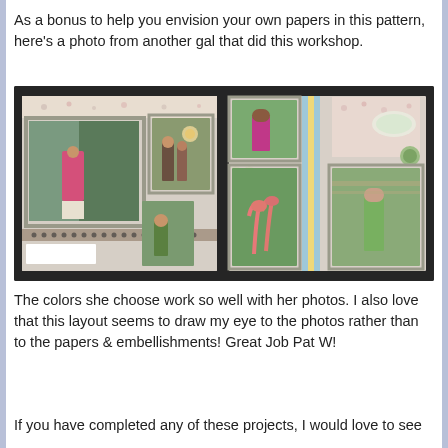As a bonus to help you envision your own papers in this pattern,  here's a photo from another gal that did this workshop.
[Figure (photo): A photograph of a scrapbook layout showing two pages side by side on a dark table. The left page has a large photo of a woman in a pink shirt, a smaller photo of two people, and a small photo of a person in a green shirt, with patterned decorative papers. The right page has photos of flamingos, a woman outdoors, and another person, arranged with patterned and striped decorative papers.]
The colors she choose work so well with her photos.   I also love that this layout seems to draw my eye to the photos rather than to the papers & embellishments!   Great Job Pat W!
If you have completed any of these projects,  I would love to see